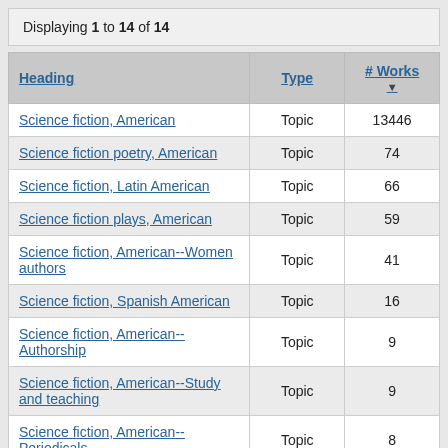Displaying 1 to 14 of 14
| Heading | Type | # Works |
| --- | --- | --- |
| Science fiction, American | Topic | 13446 |
| Science fiction poetry, American | Topic | 74 |
| Science fiction, Latin American | Topic | 66 |
| Science fiction plays, American | Topic | 59 |
| Science fiction, American--Women authors | Topic | 41 |
| Science fiction, Spanish American | Topic | 16 |
| Science fiction, American--Authorship | Topic | 9 |
| Science fiction, American--Study and teaching | Topic | 9 |
| Science fiction, American--Periodicals | Topic | 8 |